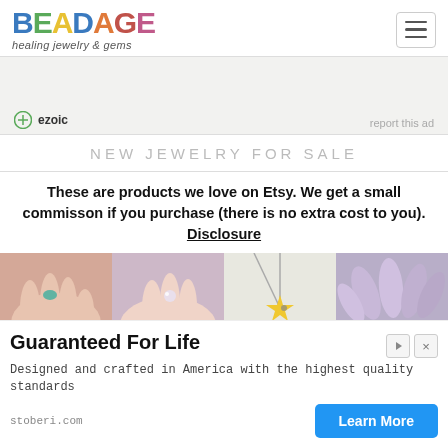[Figure (logo): Beadage logo with colorful letters and tagline 'healing jewelry & gems']
[Figure (other): Hamburger menu icon (three horizontal lines in a rounded rectangle)]
[Figure (other): Ezoic ad label with circular icon and 'report this ad' text on grey background]
NEW JEWELRY FOR SALE
These are products we love on Etsy. We get a small commisson if you purchase (there is no extra cost to you). Disclosure
[Figure (photo): Four product photos side by side: hand with turquoise ring, hand with sparkly nail/ring, yellow star necklace pendant, lavender flowers with jewelry]
[Figure (other): Ad overlay: 'Guaranteed For Life' - Designed and crafted in America with the highest quality standards, stoberi.com, Learn More button]